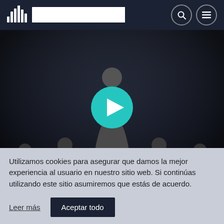PIA PODCAST
[Figure (screenshot): Dark background hero image showing silhouettes of business people with a teal play button in the center. Category label 'ENTRETENIMIENTO' and article title 'La diferencia entre un jefe duro y un' overlaid at the bottom.]
Utilizamos cookies para asegurar que damos la mejor experiencia al usuario en nuestro sitio web. Si continúas utilizando este sitio asumiremos que estás de acuerdo.
Leer más
Aceptar todo